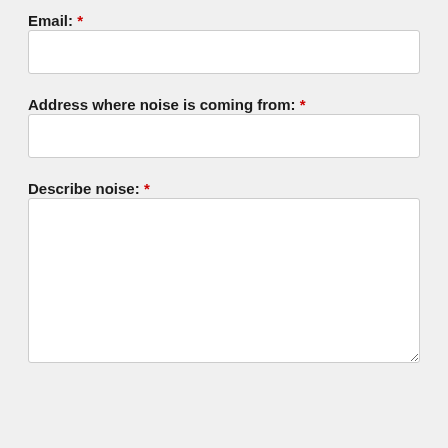Email: *
Address where noise is coming from: *
Describe noise: *